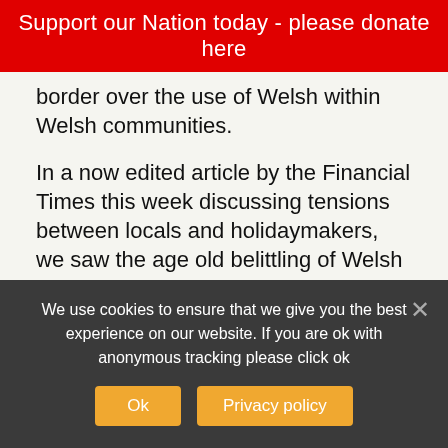Support our Nation today - please donate here
border over the use of Welsh within Welsh communities.
In a now edited article by the Financial Times this week discussing tensions between locals and holidaymakers, we saw the age old belittling of Welsh rearing its ugly head. In the original article, an apparent anonymous case study describes Welsh as “impenetrable to the English”, with the article noting how “tensions have led the Welsh to weaponise their ancient Celtic language against tourists”.
We use cookies to ensure that we give you the best experience on our website. If you are ok with anonymous tracking please click ok
Ok
Privacy policy